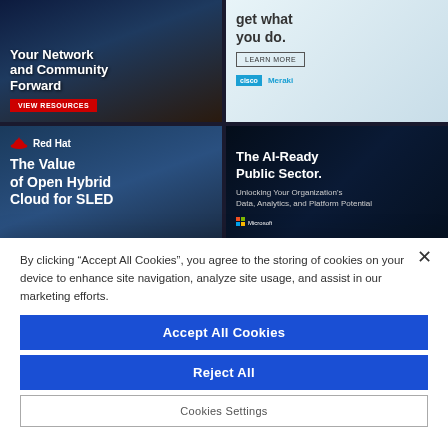[Figure (screenshot): Ad banner top-left: dark city background with text 'Your Network and Community Forward' and red 'VIEW RESOURCES' button]
[Figure (screenshot): Ad banner top-right: person with tablet, text 'get what you do.', LEARN MORE button, Cisco and Meraki logos]
[Figure (screenshot): Ad banner bottom-left: Red Hat logo, city/dome background, text 'The Value of Open Hybrid Cloud for SLED']
[Figure (screenshot): Ad banner bottom-right: dark circuit/AI background, text 'The AI-Ready Public Sector. Unlocking Your Organization's Data, Analytics, and Platform Potential', Microsoft logo]
By clicking “Accept All Cookies”, you agree to the storing of cookies on your device to enhance site navigation, analyze site usage, and assist in our marketing efforts.
Accept All Cookies
Reject All
Cookies Settings